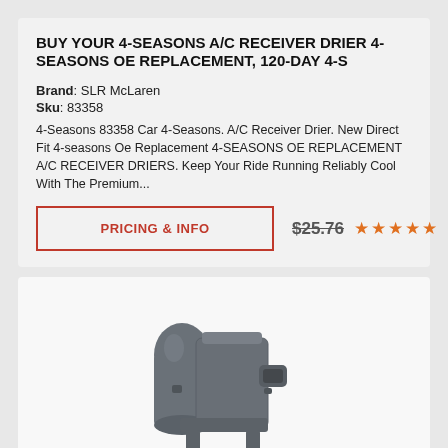BUY YOUR 4-SEASONS A/C RECEIVER DRIER 4-SEASONS OE REPLACEMENT, 120-DAY 4-S
Brand: SLR McLaren
Sku: 83358
4-Seasons 83358 Car 4-Seasons. A/C Receiver Drier. New Direct Fit 4-seasons Oe Replacement 4-SEASONS OE REPLACEMENT A/C RECEIVER DRIERS. Keep Your Ride Running Reliably Cool With The Premium...
PRICING & INFO
$25.76
[Figure (photo): Product photo of a dark grey automotive A/C receiver drier / component, viewed from front-left angle, showing cylindrical body with mounting bracket and connector port.]